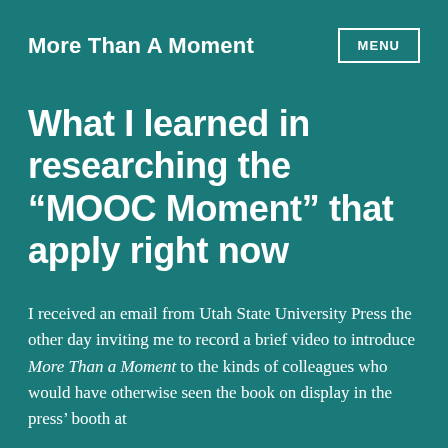More Than A Moment
What I learned in researching the “MOOC Moment” that apply right now
I received an email from Utah State University Press the other day inviting me to record a brief video to introduce More Than a Moment to the kinds of colleagues who would have otherwise seen the book on display in the press’ booth at